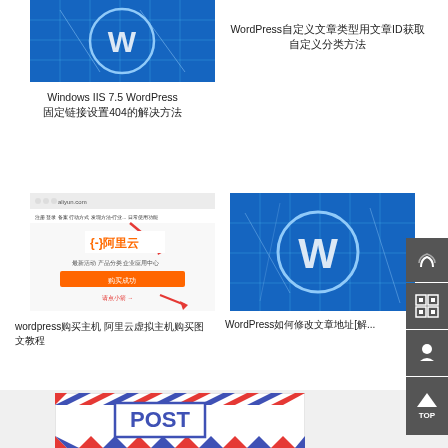[Figure (screenshot): WordPress logo on blue blueprint grid background, partial top crop]
Windows IIS 7.5 WordPress 固定链接设置404的解决方法
WordPress自定义文章类型用文章ID获取自定义分类方法
[Figure (screenshot): Screenshot of Aliyun (阿里云) website with red arrow pointing to sign-in button]
wordpress购买主机 阿里云虚拟主机购买图文教程
[Figure (screenshot): WordPress logo on blue blueprint grid background]
WordPress如何修改文章地址[解决方法]
[Figure (other): POST airmail envelope border design with POST text inside]
[Figure (other): Phone icon sidebar button]
[Figure (other): QR code icon sidebar button]
[Figure (other): Bell/Notification icon sidebar button]
[Figure (other): TOP scroll button sidebar]